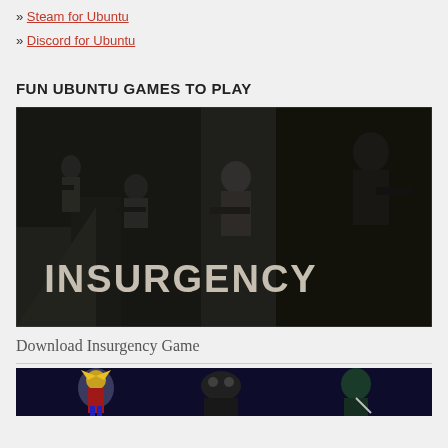» Steam for Ubuntu
» Discord for Ubuntu
FUN UBUNTU GAMES TO PLAY
[Figure (photo): Promotional banner image for the game Insurgency, showing armed soldiers in a dark tactical setting with the word INSURGENCY in large grunge lettering]
Download Insurgency Game
[Figure (photo): Partial view of another game promotional image showing colorful characters on a dark background]